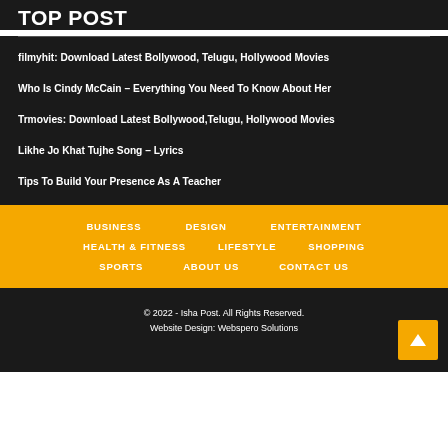TOP POST
filmyhit: Download Latest Bollywood, Telugu, Hollywood Movies
Who Is Cindy McCain – Everything You Need To Know About Her
Trmovies: Download Latest Bollywood,Telugu, Hollywood Movies
Likhe Jo Khat Tujhe Song – Lyrics
Tips To Build Your Presence As A Teacher
BUSINESS   DESIGN   ENTERTAINMENT   HEALTH & FITNESS   LIFESTYLE   SHOPPING   SPORTS   ABOUT US   CONTACT US
© 2022 - Isha Post. All Rights Reserved.
Website Design: Webspero Solutions